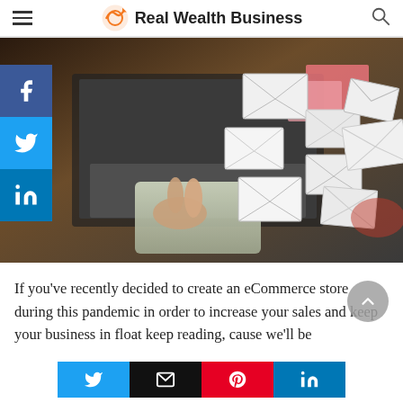Real Wealth Business
[Figure (photo): Person's hand pointing/tapping on a laptop trackpad, with multiple white envelope icons floating around, suggesting email marketing. Social media share buttons (Facebook, Twitter, LinkedIn) visible on the left side overlay.]
If you've recently decided to create an eCommerce store during this pandemic in order to increase your sales and keep your business in float keep reading, cause we'll be
Share buttons: Twitter, Email, Pinterest, LinkedIn